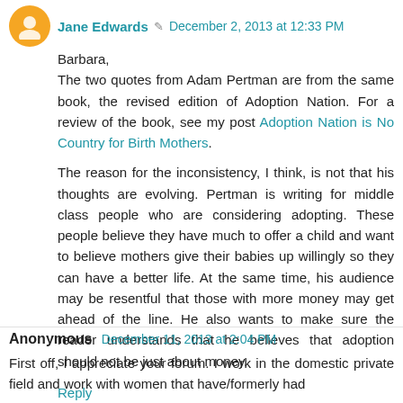Jane Edwards · December 2, 2013 at 12:33 PM
Barbara,
The two quotes from Adam Pertman are from the same book, the revised edition of Adoption Nation. For a review of the book, see my post Adoption Nation is No Country for Birth Mothers.
The reason for the inconsistency, I think, is not that his thoughts are evolving. Pertman is writing for middle class people who are considering adopting. These people believe they have much to offer a child and want to believe mothers give their babies up willingly so they can have a better life. At the same time, his audience may be resentful that those with more money may get ahead of the line. He also wants to make sure the reader understands that he believes that adoption should not be just about money.
Reply
Anonymous  December 11, 2013 at 2:04 PM
First off, I appreciate your forum. I work in the domestic private field and work with women that have/formerly had...